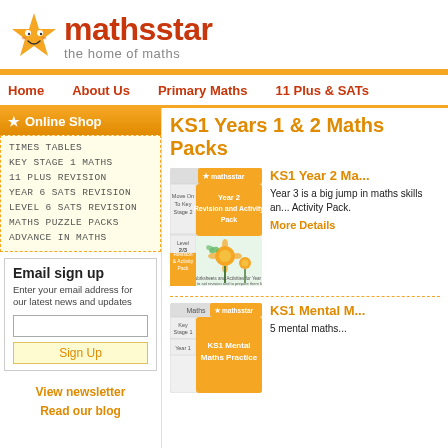[Figure (logo): Mathsstar logo with orange star mascot and text 'mathsstar the home of maths']
Home   About Us   Primary Maths   11 Plus & SATs
★ Online Shop
TIMES TABLES
KEY STAGE 1 MATHS
11 PLUS REVISION
YEAR 6 SATS REVISION
LEVEL 6 SATS REVISION
MATHS PUZZLE PACKS
ADVANCE IN MATHS
Email sign up
Enter your email address for our latest news and updates
Sign Up
View newsletter
Read our blog
KS1 Years 1 & 2 Maths Packs
[Figure (illustration): KS1 Year 2 Revision and Activity Pack book cover with mathsstar branding, showing sunflowers illustration]
KS1 Year 2 Ma...
Year 3 is a big jump in maths skills an... Activity Pack.
More Details
[Figure (illustration): KS1 Mental Maths Practice book cover with mathsstar branding]
KS1 Mental M...
5 mental maths...